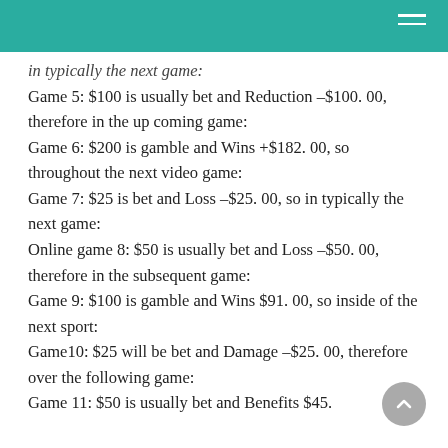in typically the next game:
Game 5: $100 is usually bet and Reduction –$100. 00, therefore in the up coming game:
Game 6: $200 is gamble and Wins +$182. 00, so throughout the next video game:
Game 7: $25 is bet and Loss –$25. 00, so in typically the next game:
Online game 8: $50 is usually bet and Loss –$50. 00, therefore in the subsequent game:
Game 9: $100 is gamble and Wins $91. 00, so inside of the next sport:
Game10: $25 will be bet and Damage –$25. 00, therefore over the following game:
Game 11: $50 is usually bet and Benefits $45.